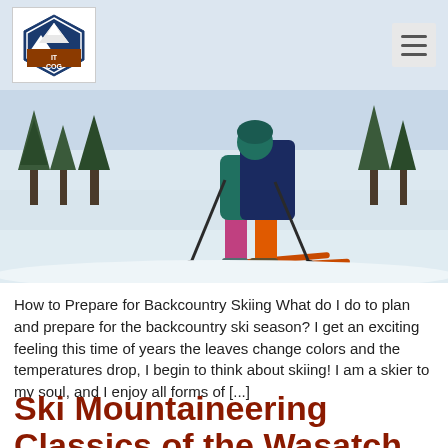[Figure (logo): IT COG hexagonal logo with mountain/snow imagery]
[Figure (photo): Person on backcountry skis with ski poles on a snowy slope with trees in background, wearing bright colored pants]
How to Prepare for Backcountry Skiing What do I do to plan and prepare for the backcountry ski season? I get an exciting feeling this time of years the leaves change colors and the temperatures drop, I begin to think about skiing!  I am a skier to my soul, and I enjoy all forms of [...]
Ski Mountaineering Classics of the Wasatch